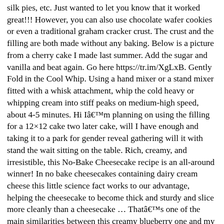silk pies, etc. Just wanted to let you know that it worked great!!! However, you can also use chocolate wafer cookies or even a traditional graham cracker crust. The crust and the filling are both made without any baking. Below is a picture from a cherry cake I made last summer. Add the sugar and vanilla and beat again. Go here https://tr.im/XgLxB. Gently Fold in the Cool Whip. Using a hand mixer or a stand mixer fitted with a whisk attachment, whip the cold heavy or whipping cream into stiff peaks on medium-high speed, about 4-5 minutes. Hi Iâm planning on using the filling for a 12×12 cake two later cake, will I have enough and taking it to a park for gender reveal gathering will it with stand the wait sitting on the table. Rich, creamy, and irresistible, this No-Bake Cheesecake recipe is an all-around winner! In no bake cheesecakes containing dairy cream cheese this little science fact works to our advantage, helping the cheesecake to become thick and sturdy and slice more cleanly than a cheesecake … Thatâs one of the main similarities between this creamy blueberry one and my beloved no-bake mango cheesecake pie or my fresh strawberry cheesecake.. You might also be able to tell that Iâm a rather large fan of no-bake â¦ Your recipe states that this makes 6 cups of filling? Do you love making easy, no-bake desserts? You can store this dessert in an airtight container in the fridge for up to 4 days, you can also store it wrapped in plastic wrap. No-bake cheesecake is crazy easy to make in just a few simple steps! No-bake truly means you do not have to bake the dessert. You can also use Amarula in Grown